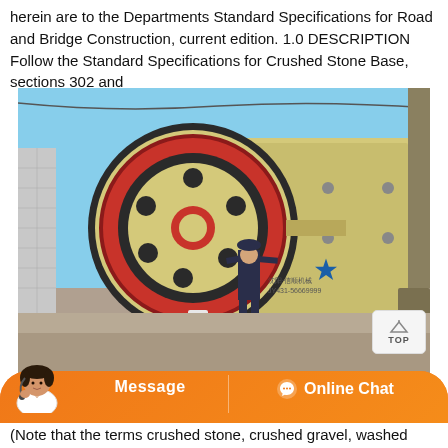herein are to the Departments Standard Specifications for Road and Bridge Construction, current edition. 1.0 DESCRIPTION Follow the Standard Specifications for Crushed Stone Base, sections 302 and
[Figure (photo): Large industrial jaw crusher machine outdoors with a worker in dark coveralls standing next to it for scale. The machine is cream/yellow colored with a large red-rimmed flywheel. A blue star logo is visible on the machine body. Background shows a concrete wall and blue sky.]
(Note that the terms crushed stone, crushed gravel, washed gravel and